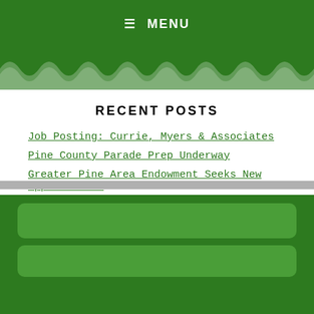MENU
[Figure (illustration): Green wave/scallop pattern decorative strip]
RECENT POSTS
Job Posting: Currie, Myers & Associates
Pine County Parade Prep Underway
Greater Pine Area Endowment Seeks New Applications
Pine City Ambassadors Host Scholarship Fundraiser
Senior Fitness Classes Offered at Braham Event Center
[Figure (other): Dark green footer area with two lighter green rounded rectangle boxes]